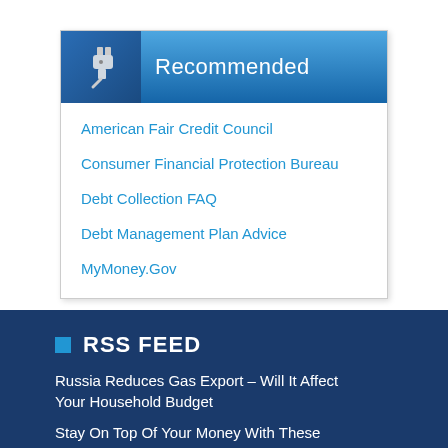Recommended
American Fair Credit Council
Consumer Financial Protection Bureau
Debt Collection FAQ
Debt Management Plan Advice
MyMoney.Gov
RSS FEED
Russia Reduces Gas Export – Will It Affect Your Household Budget
Stay On Top Of Your Money With These